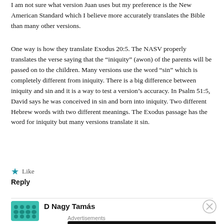I am not sure what version Juan uses but my preference is the New American Standard which I believe more accurately translates the Bible than many other versions.
One way is how they translate Exodus 20:5. The NASV properly translates the verse saying that the “iniquity” (awon) of the parents will be passed on to the children. Many versions use the word “sin” which is completely different from iniquity. There is a big difference between iniquity and sin and it is a way to test a version’s accuracy. In Psalm 51:5, David says he was conceived in sin and born into iniquity. Two different Hebrew words with two different meanings. The Exodus passage has the word for iniquity but many versions translate it sin.
★ Like
Reply
D Nagy Tamás
Advertisements
[Figure (other): Longreads advertisement banner with dark background. Shows Longreads logo (red circle with L) and text 'Read anything great lately?']